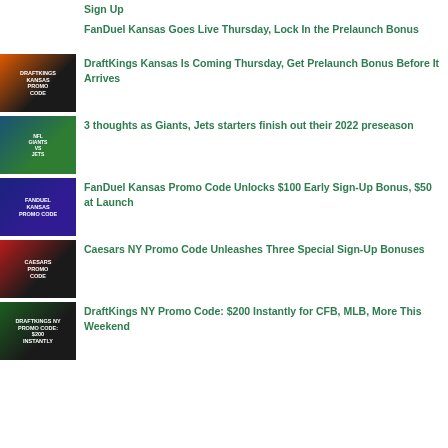Sign Up
FanDuel Kansas Goes Live Thursday, Lock In the Prelaunch Bonus
[Figure (photo): DraftKings Kansas Promo Code promotional image]
DraftKings Kansas Is Coming Thursday, Get Prelaunch Bonus Before It Arrives
[Figure (photo): Giants Jets football action image]
3 thoughts as Giants, Jets starters finish out their 2022 preseason
[Figure (photo): FanDuel Kansas Promo Code promotional image]
FanDuel Kansas Promo Code Unlocks $100 Early Sign-Up Bonus, $50 at Launch
[Figure (photo): Caesars Promo Code promotional image]
Caesars NY Promo Code Unleashes Three Special Sign-Up Bonuses
[Figure (photo): DraftKings NY Promo Code $200 Instantly promotional image]
DraftKings NY Promo Code: $200 Instantly for CFB, MLB, More This Weekend